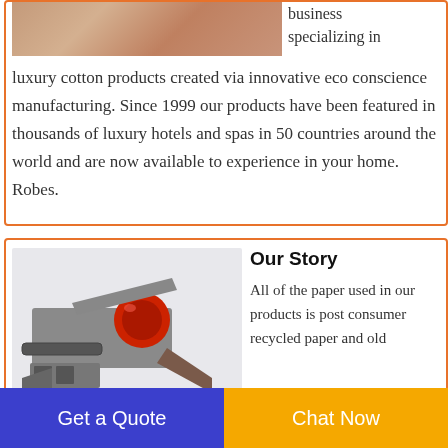[Figure (photo): Close-up photo of a textured cotton fabric or similar material in warm pink/terracotta tones]
business specializing in luxury cotton products created via innovative eco conscience manufacturing. Since 1999 our products have been featured in thousands of luxury hotels and spas in 50 countries around the world and are now available to experience in your home. Robes.
[Figure (photo): 3D render or product photo of an industrial paper recycling machine with red and grey components, conveyor belts, and processing equipment]
Our Story
All of the paper used in our products is post consumer recycled paper and old
Get a Quote
Chat Now